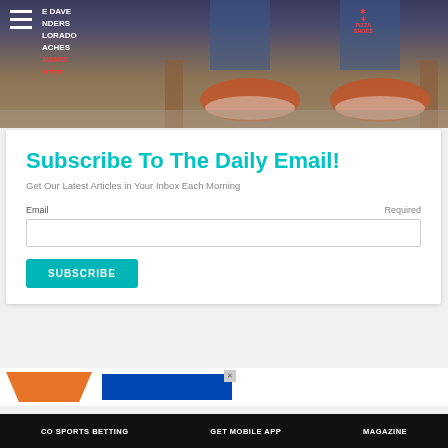[Figure (photo): Cropped photo of person wearing red/orange pizza-patterned sneakers with jeans, with text overlay showing menu items and a 'PIZZA SHOES' annotation with arrow]
Subscribe To The Daily Email!
Get Our Latest Articles in Your Inbox Each Morning
Email    Required
SUBSCRIBE
[Figure (other): Advertisement banners at bottom: orange chevron shape and blue rectangular ad with close button]
CO SPORTS BETTING   GET MOBILE APP   MAGAZINE